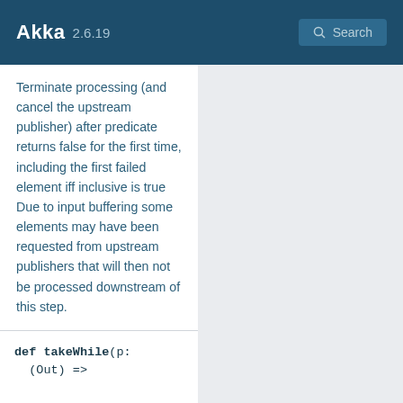Akka 2.6.19 Search
Terminate processing (and cancel the upstream publisher) after predicate returns false for the first time, including the first failed element iff inclusive is true Due to input buffering some elements may have been requested from upstream publishers that will then not be processed downstream of this step.
def takeWhile(p: (Out) =>